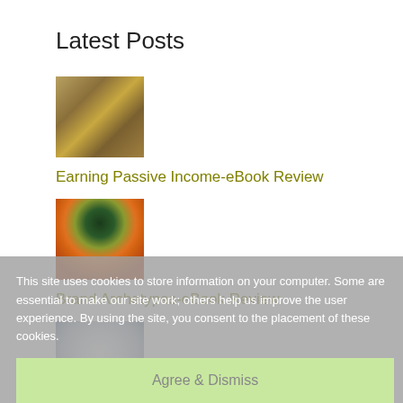Latest Posts
[Figure (photo): Thumbnail image of hands holding US dollar bills (money/cash)]
Earning Passive Income-eBook Review
[Figure (photo): Thumbnail image showing a spinning top or colorful disc viewed from above with dark center]
Brand Archetypes-eBook Review
[Figure (photo): Thumbnail image of a white ball or sphere against a light background]
What Was the Deal with Antenna Balls?
[Figure (photo): Thumbnail image of a dog with goggles]
The History of Doggles
This site uses cookies to store information on your computer. Some are essential to make our site work; others help us improve the user experience. By using the site, you consent to the placement of these cookies.
Agree & Dismiss